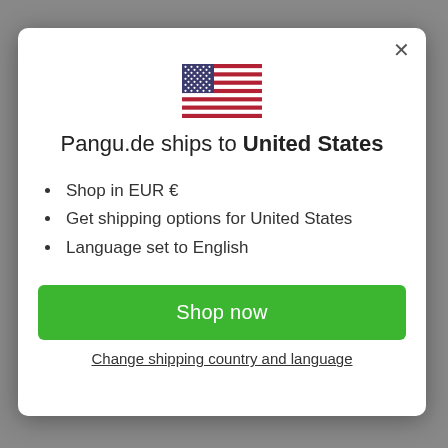[Figure (illustration): US flag emoji/icon centered in modal]
Pangu.de ships to United States
Shop in EUR €
Get shipping options for United States
Language set to English
Shop now
Change shipping country and language